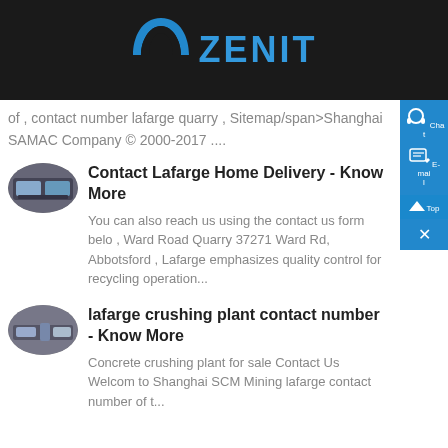ZENIT
of , contact number lafarge quarry , Sitemap/span>Shanghai SAMAC Company © 2000-2017 ....
Contact Lafarge Home Delivery - Know More
You can also reach us using the contact us form below , Ward Road Quarry 37271 Ward Rd, Abbotsford , Lafarge emphasizes quality control for recycling operation...
lafarge crushing plant contact number - Know More
Concrete crushing plant for sale Contact Us Welcome to Shanghai SCM Mining lafarge contact number of t...